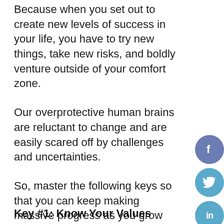Because when you set out to create new levels of success in your life, you have to try new things, take new risks, and boldly venture outside of your comfort zone.
Our overprotective human brains are reluctant to change and are easily scared off by challenges and uncertainties.
So, master the following keys so that you can keep making massive progress as you grow into the most successful and impactful version of yourself.
Key #1: Know Your Values
[Figure (other): Social media share buttons: Facebook (blue-grey circle with f), Twitter (light blue circle with bird icon), LinkedIn (light blue circle with 'in'), and a partial grey square button at bottom]